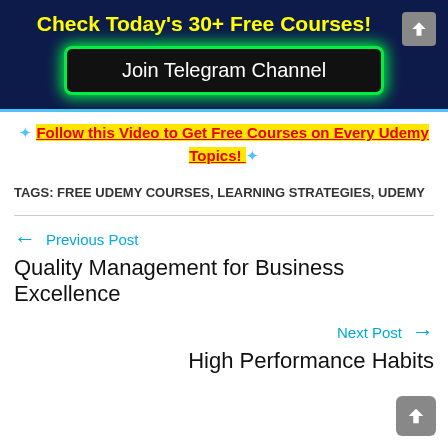Check Today's 30+ Free Courses!
Join Telegram Channel
Follow this Video to Get Free Courses on Every Udemy Topics!
TAGS: FREE UDEMY COURSES, LEARNING STRATEGIES, UDEMY
Previous Post
Quality Management for Business Excellence
Next Post
High Performance Habits